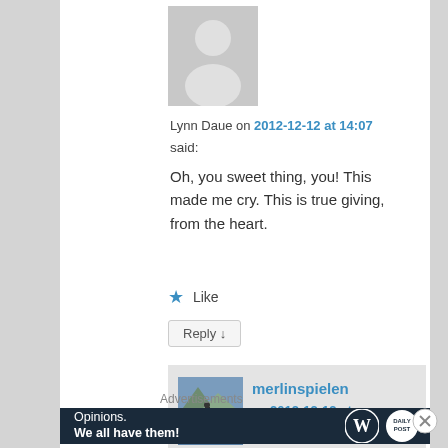[Figure (illustration): Default grey avatar icon showing a person silhouette]
Lynn Daue on 2012-12-12 at 14:07
said:
Oh, you sweet thing, you! This made me cry. This is true giving, from the heart.
★ Like
Reply ↓
[Figure (photo): Small square avatar photo of merlinspielen, showing a person standing near a mountain lake]
merlinspielen on 2012-12-12 at 22:26 said:
Advertisements
[Figure (screenshot): WordPress advertisement banner: Opinions. We all have them! with WordPress and DailyPost logos]